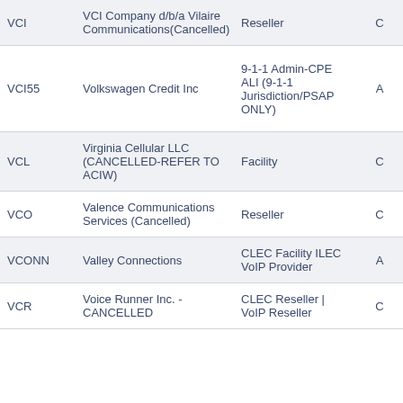| Code | Name | Type | Status | State |
| --- | --- | --- | --- | --- |
| VCI | VCI Company d/b/a Vilaire Communications(Cancelled) | Reseller | C | MI... |
| VCI55 | Volkswagen Credit Inc | 9-1-1 Admin-CPE ALI (9-1-1 Jurisdiction/PSAP ONLY) | A | CA GA | N TX W... |
| VCL | Virginia Cellular LLC (CANCELLED-REFER TO ACIW) | Facility | C | Vi... |
| VCO | Valence Communications Services (Cancelled) | Reseller | C | TX... |
| VCONN | Valley Connections | CLEC Facility ILEC VoIP Provider | A | AZ... |
| VCR | Voice Runner Inc. - CANCELLED | CLEC Reseller | VoIP Reseller | C | US... |